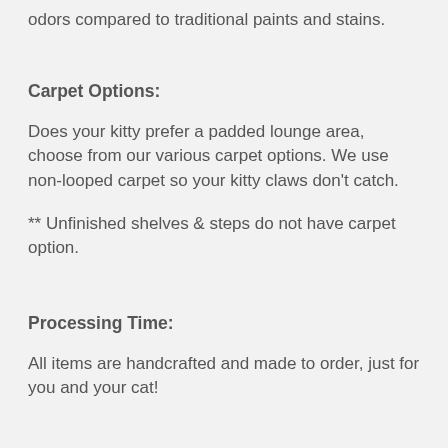odors compared to traditional paints and stains.
Carpet Options:
Does your kitty prefer a padded lounge area, choose from our various carpet options. We use non-looped carpet so your kitty claws don't catch.
** Unfinished shelves & steps do not have carpet option.
Processing Time:
All items are handcrafted and made to order, just for you and your cat!